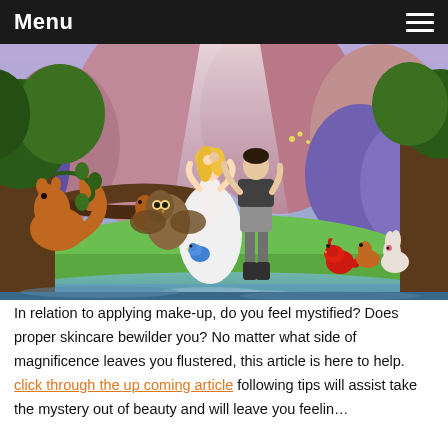Menu
[Figure (illustration): Disney Sleeping Beauty scene: Princess Aurora in white dress dancing with Prince Phillip in a forest clearing surrounded by woodland animals including squirrels, an owl, a bluebird, a cardinal, and a rabbit, with purple mountains and glowing trees in the background.]
In relation to applying make-up, do you feel mystified? Does proper skincare bewilder you? No matter what side of magnificence leaves you flustered, this article is here to help. click through the up coming article following tips will assist take the mystery out of beauty and will leave you feelin…